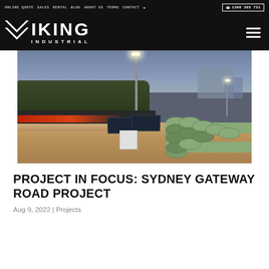ONLINE QUOTE  SALES  RENTAL  BLOG  ABOUT US  TERMS  CONTACT  1300 365 721
[Figure (logo): Viking Industrial logo with chevron icon and IKING INDUSTRIAL text on black background]
[Figure (photo): Construction site at dusk showing a solar-powered light tower on a pole with solar panels, concrete barrier wall, stacked concrete pipes, red light trails from traffic, and trees/buildings in background]
PROJECT IN FOCUS: SYDNEY GATEWAY ROAD PROJECT
Aug 9, 2022 | Projects